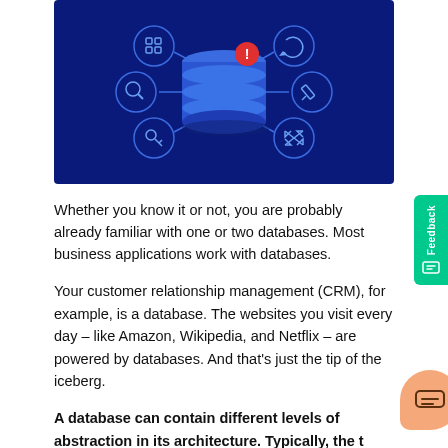[Figure (illustration): Dark blue background illustration showing a 3D database cylinder icon in the center with a red exclamation mark on top, surrounded by six circular icons connected by lines: a grid/table icon, a refresh/sync icon, a search/magnifier icon, a pencil/edit icon, a key icon, and a resize/expand icon.]
Whether you know it or not, you are probably already familiar with one or two databases. Most business applications work with databases.
Your customer relationship management (CRM), for example, is a database. The websites you visit every day – like Amazon, Wikipedia, and Netflix – are powered by databases. And that's just the tip of the iceberg.
A database can contain different levels of abstraction in its architecture. Typically, the three levels: external, conceptual, and internal make up